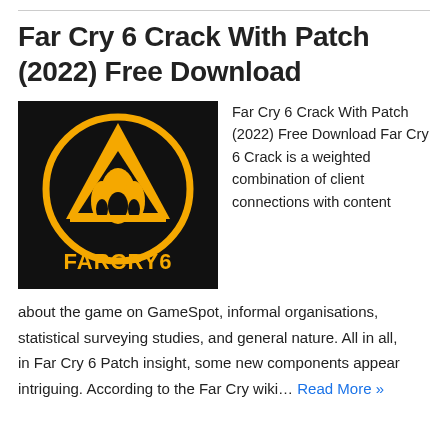Far Cry 6 Crack With Patch (2022) Free Download
[Figure (logo): Far Cry 6 logo: black background with a golden circle containing a triangle and flame icon, text 'FARCRY6' at the bottom in gold]
Far Cry 6 Crack With Patch (2022) Free Download Far Cry 6 Crack is a weighted combination of client connections with content about the game on GameSpot, informal organisations, statistical surveying studies, and general nature. All in all, in Far Cry 6 Patch insight, some new components appear intriguing. According to the Far Cry wiki… Read More »